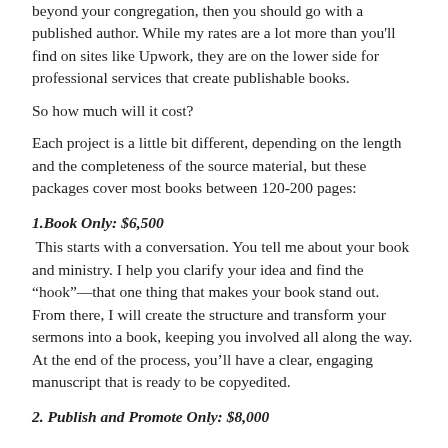beyond your congregation, then you should go with a published author. While my rates are a lot more than you'll find on sites like Upwork, they are on the lower side for professional services that create publishable books.
So how much will it cost?
Each project is a little bit different, depending on the length and the completeness of the source material, but these packages cover most books between 120-200 pages:
1.Book Only: $6,500
This starts with a conversation. You tell me about your book and ministry. I help you clarify your idea and find the “hook”—that one thing that makes your book stand out. From there, I will create the structure and transform your sermons into a book, keeping you involved all along the way. At the end of the process, you’ll have a clear, engaging manuscript that is ready to be copyedited.
2. Publish and Promote Only: $8,000